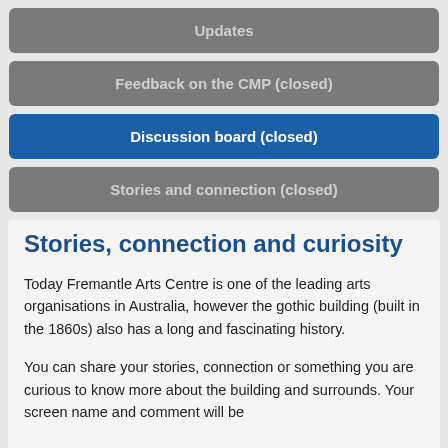Updates
Feedback on the CMP (closed)
Discussion board (closed)
Stories and connection (closed)
Stories, connection and curiosity
Today Fremantle Arts Centre is one of the leading arts organisations in Australia, however the gothic building (built in the 1860s) also has a long and fascinating history.
You can share your stories, connection or something you are curious to know more about the building and surrounds. Your screen name and comment will be